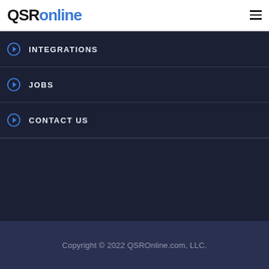QSRonline
INTEGRATIONS
JOBS
CONTACT US
Copyright © 2022 QSROnline.com, LLC.